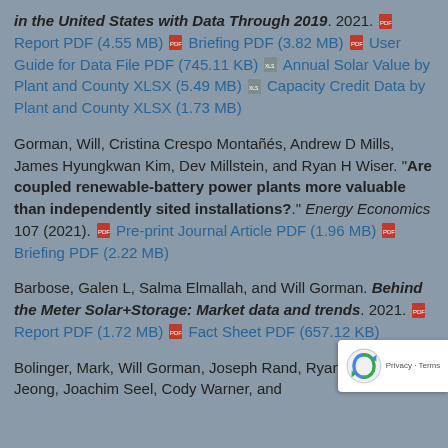in the United States with Data Through 2019. 2021. Report PDF (4.55 MB) Briefing PDF (3.82 MB) User Guide for Data File PDF (745.11 KB) Annual Solar Value by Plant and County XLSX (5.49 MB) Capacity Credit Data by Plant and County XLSX (1.73 MB)
Gorman, Will, Cristina Crespo Montañés, Andrew D Mills, James Hyungkwan Kim, Dev Millstein, and Ryan H Wiser. "Are coupled renewable-battery power plants more valuable than independently sited installations?" Energy Economics 107 (2021). Pre-print Journal Article PDF (1.96 MB) Briefing PDF (2.22 MB)
Barbose, Galen L, Salma Elmallah, and Will Gorman. Behind the Meter Solar+Storage: Market data and trends. 2021. Report PDF (1.72 MB) Fact Sheet PDF (657.12 KB)
Bolinger, Mark, Will Gorman, Joseph Rand, Ryan H Seongeun Jeong, Joachim Seel, Cody Warner, and ...